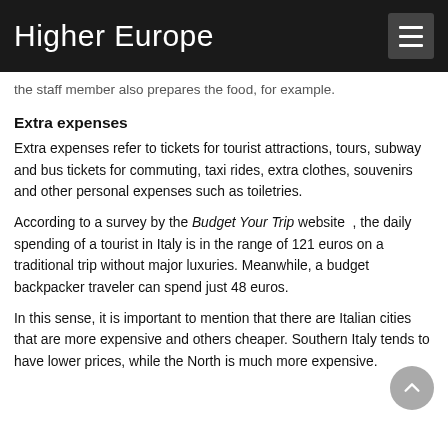Higher Europe
the staff member also prepares the food, for example.
Extra expenses
Extra expenses refer to tickets for tourist attractions, tours, subway and bus tickets for commuting, taxi rides, extra clothes, souvenirs and other personal expenses such as toiletries.
According to a survey by the Budget Your Trip website , the daily spending of a tourist in Italy is in the range of 121 euros on a traditional trip without major luxuries. Meanwhile, a budget backpacker traveler can spend just 48 euros.
In this sense, it is important to mention that there are Italian cities that are more expensive and others cheaper. Southern Italy tends to have lower prices, while the North is much more expensive.